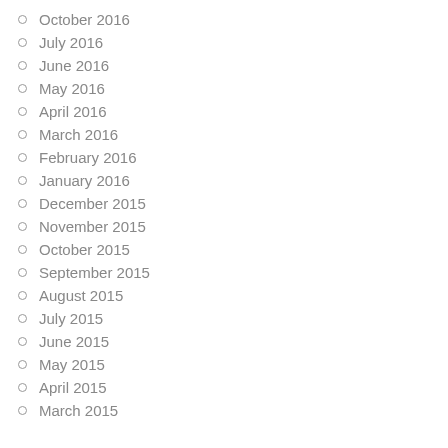October 2016
July 2016
June 2016
May 2016
April 2016
March 2016
February 2016
January 2016
December 2015
November 2015
October 2015
September 2015
August 2015
July 2015
June 2015
May 2015
April 2015
March 2015